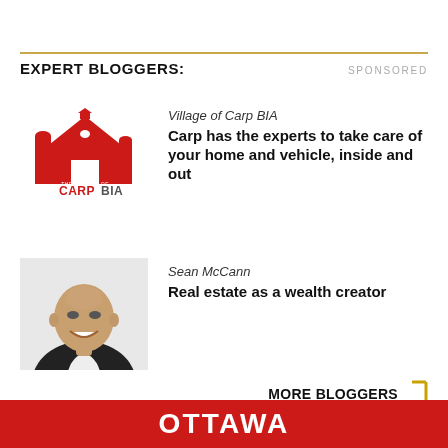EXPERT BLOGGERS:
SPONSORED
[Figure (logo): Village of Carp BIA logo — red barn illustration with 'THE VILLAGE OF CARP BIA' text]
Village of Carp BIA
Carp has the experts to take care of your home and vehicle, inside and out
[Figure (photo): Head and shoulders photo of Sean McCann, a bald smiling man in a dark blazer]
Sean McCann
Real estate as a wealth creator
MORE BLOGGERS
OTTAWA